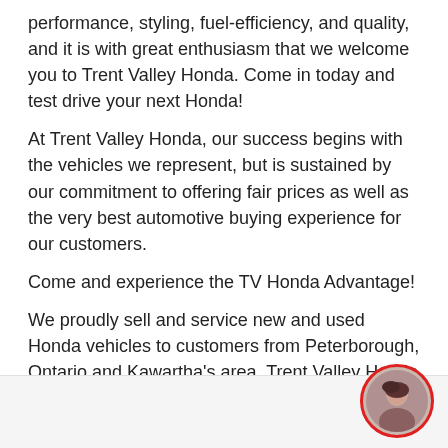performance, styling, fuel-efficiency, and quality, and it is with great enthusiasm that we welcome you to Trent Valley Honda. Come in today and test drive your next Honda!
At Trent Valley Honda, our success begins with the vehicles we represent, but is sustained by our commitment to offering fair prices as well as the very best automotive buying experience for our customers.
Come and experience the TV Honda Advantage!
We proudly sell and service new and used Honda vehicles to customers from Peterborough, Ontario and Kawartha's area. Trent Valley Honda sells and services new and used Honda vehicles. Visit Trent Valley Honda today at 851 HWY #7 East Peterborough, Ontario K9J 6X7, or give us a call at 705.748.2777 or Toll Free: 1.800.858.8585.
[Figure (photo): Circular avatar photo of a woman with dark hair, framed with a red circular border, positioned in the bottom-right corner of the page]